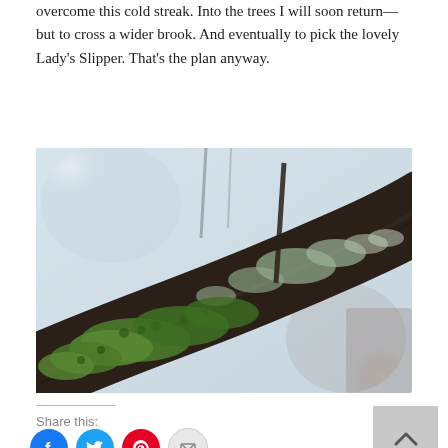overcome this cold streak. Into the trees I will soon return—but to cross a wider brook. And eventually to pick the lovely Lady's Slipper. That's the plan anyway.
[Figure (photo): Close-up photograph of a tree branch covered in green moss and grey-green lichen, with a blurred natural background.]
Share this:
[Figure (other): Social sharing icons: Facebook (blue circle), Twitter (blue circle), Pinterest (red circle), Email (grey circle), and a back-to-top arrow button (grey square).]